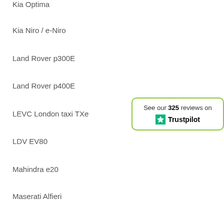Kia Optima
Kia Niro / e-Niro
Land Rover p300E
Land Rover p400E
LEVC London taxi TXe
LDV EV80
Mahindra e20
Maserati Alfieri
Mercedes A, B, C, E, S class (all mercedes models)
[Figure (other): Trustpilot review badge showing 325 reviews with a green star and Trustpilot logo, enclosed in a green-bordered rounded rectangle box.]